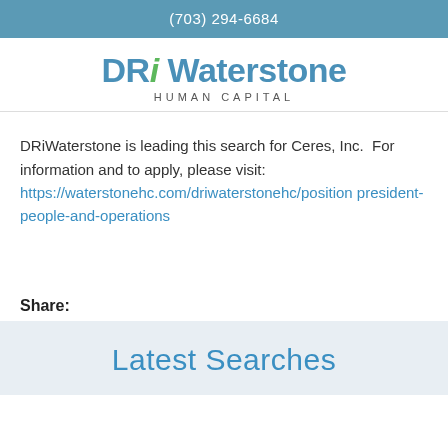(703) 294-6684
[Figure (logo): DRi Waterstone Human Capital logo]
DRiWaterstone is leading this search for Ceres, Inc.  For information and to apply, please visit: https://waterstonehc.com/driwaterstonehc/position president-people-and-operations
Share:
Latest Searches